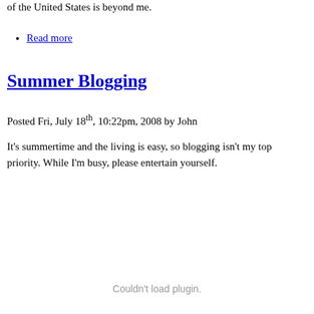of the United States is beyond me.
Read more
Summer Blogging
Posted Fri, July 18th, 10:22pm, 2008 by John
It's summertime and the living is easy, so blogging isn't my top priority. While I'm busy, please entertain yourself.
Couldn't load plugin.